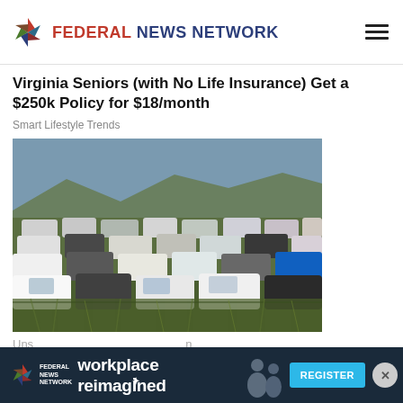FEDERAL NEWS NETWORK
Virginia Seniors (with No Life Insurance) Get a $250k Policy for $18/month
Smart Lifestyle Trends
[Figure (photo): Aerial/ground view of a large field filled with dozens of parked vehicles including SUVs and trucks, with overgrown grass between them and mountains in the background.]
Uns... Ash...
[Figure (infographic): Advertisement banner for Federal News Network 'workplace reimagined' event with a REGISTER button.]